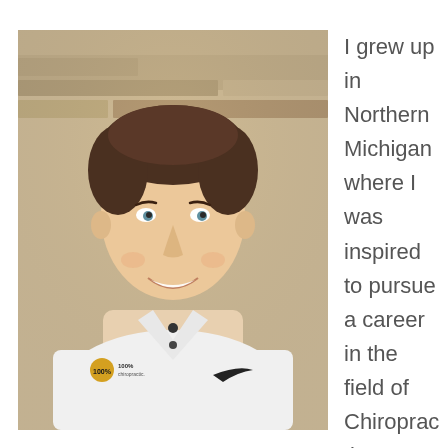[Figure (photo): A smiling man with short brown hair wearing a white polo shirt with a '100% Chiropractic' logo on the left chest and a Nike swoosh logo on the right chest. He is standing in front of a wooden/stone wall background.]
I grew up in Northern Michigan where I was inspired to pursue a career in the field of Chiropractic at a young age. In high school, I